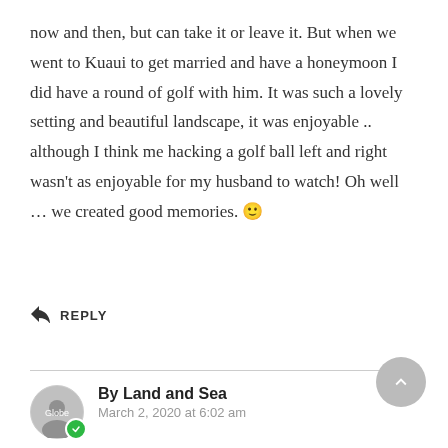now and then, but can take it or leave it. But when we went to Kuaui to get married and have a honeymoon I did have a round of golf with him. It was such a lovely setting and beautiful landscape, it was enjoyable .. although I think me hacking a golf ball left and right wasn't as enjoyable for my husband to watch! Oh well … we created good memories. 🙂
↩ REPLY
By Land and Sea
March 2, 2020 at 6:02 am
You don't have to be a great golfer (I certainly am not) to have a great time making memories like that!